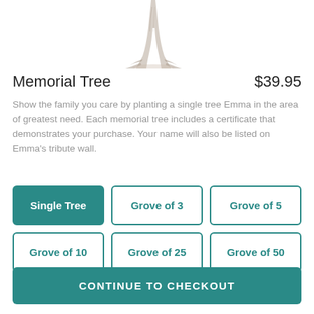[Figure (illustration): Pencil sketch illustration of a tree trunk with roots at the bottom, shown from mid-trunk down, cropped at top of image]
Memorial Tree
$39.95
Show the family you care by planting a single tree Emma in the area of greatest need. Each memorial tree includes a certificate that demonstrates your purchase. Your name will also be listed on Emma's tribute wall.
Single Tree
Grove of 3
Grove of 5
Grove of 10
Grove of 25
Grove of 50
CONTINUE TO CHECKOUT